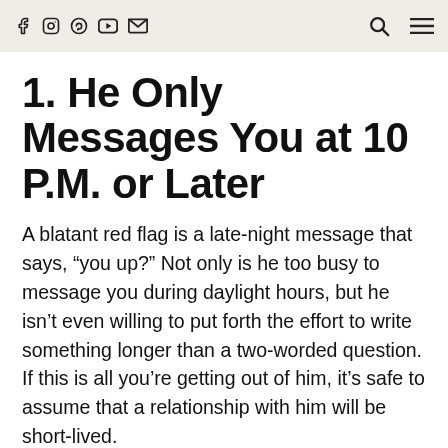f  ig  pinterest  youtube  mail  [search]  [menu]
1. He Only Messages You at 10 P.M. or Later
A blatant red flag is a late-night message that says, “you up?” Not only is he too busy to message you during daylight hours, but he isn’t even willing to put forth the effort to write something longer than a two-worded question. If this is all you’re getting out of him, it’s safe to assume that a relationship with him will be short-lived.